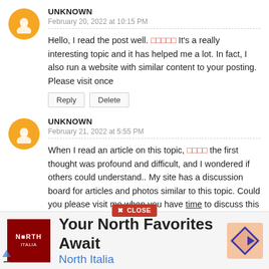UNKNOWN
February 20, 2022 at 10:15 PM
Hello, I read the post well. □□□□□ It's a really interesting topic and it has helped me a lot. In fact, I also run a website with similar content to your posting. Please visit once
Reply   Delete
UNKNOWN
February 21, 2022 at 5:55 PM
When I read an article on this topic, □□□□ the first thought was profound and difficult, and I wondered if others could understand.. My site has a discussion board for articles and photos similar to this topic. Could you please visit me when you have time to discuss this topic?
[Figure (infographic): Advertisement banner: North Italia restaurant. Red logo on left, 'Your North Favorites Await' title, 'North Italia' subtitle in blue, orange diamond icon on right.]